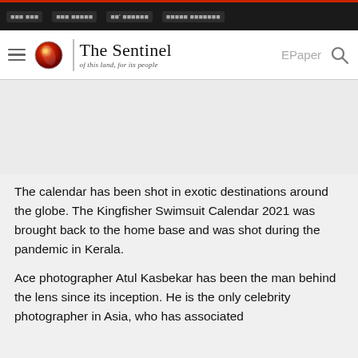The Sentinel - of this land, for its people
[Figure (screenshot): Advertisement placeholder area, light gray background]
The calendar has been shot in exotic destinations around the globe. The Kingfisher Swimsuit Calendar 2021 was brought back to the home base and was shot during the pandemic in Kerala.
Ace photographer Atul Kasbekar has been the man behind the lens since its inception. He is the only celebrity photographer in Asia, who has associated